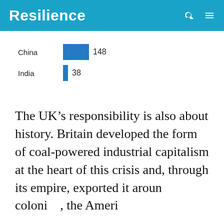Resilience
[Figure (bar-chart): Coal plants by country]
The UK’s responsibility is also about history. Britain developed the form of coal-powered industrial capitalism at the heart of this crisis and, through its empire, exported it around the world. During colonialism, the Ameri
How likely are you to recommend Resilience.org to a friend?
Reply